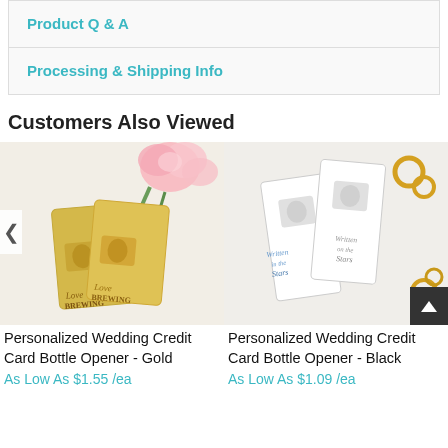Product Q & A
Processing & Shipping Info
Customers Also Viewed
[Figure (photo): Gold personalized wedding credit card bottle openers with 'Love Brewing' text, placed among pink carnation flowers on white background]
[Figure (photo): White personalized wedding credit card bottle openers with 'Written in the Stars' text, placed with gold ring accessories on white background]
Personalized Wedding Credit Card Bottle Opener - Gold
Personalized Wedding Credit Card Bottle Opener - Black
As Low As $1.55 /ea
As Low As $1.09 /ea